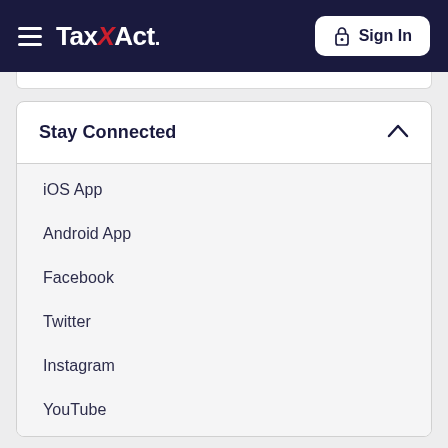TaxAct — Sign In
Stay Connected
iOS App
Android App
Facebook
Twitter
Instagram
YouTube
Confirm that you do not want your personal data sold in the future